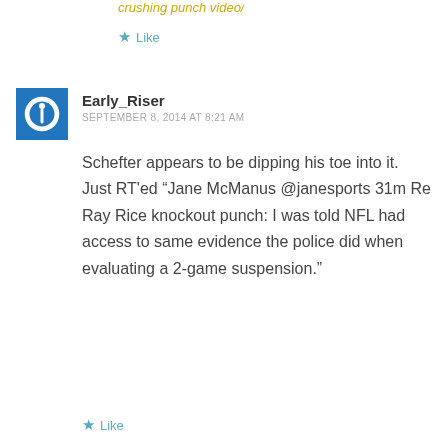crushing punch video/
Like
Early_Riser
SEPTEMBER 8, 2014 AT 8:21 AM
Schefter appears to be dipping his toe into it. Just RT'ed “Jane McManus @janesports 31m Re Ray Rice knockout punch: I was told NFL had access to same evidence the police did when evaluating a 2-game suspension.”
Like